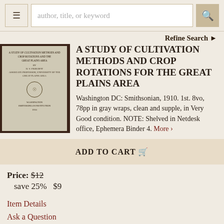[Figure (screenshot): Website navigation bar with hamburger menu, search box with placeholder text 'author, title, or keyword', and search button]
Refine Search ›
[Figure (photo): Photo of an old book cover: 'A Study of Cultivation Methods and Crop Rotations for the Great Plains Area', Washington DC, 1910, in gray wraps]
A STUDY OF CULTIVATION METHODS AND CROP ROTATIONS FOR THE GREAT PLAINS AREA
Washington DC: Smithsonian, 1910. 1st. 8vo, 78pp in gray wraps, clean and supple, in Very Good condition. NOTE: Shelved in Netdesk office, Ephemera Binder 4. More ›
ADD TO CART 🛒
Price: $12
  save 25%   $9
Item Details
Ask a Question